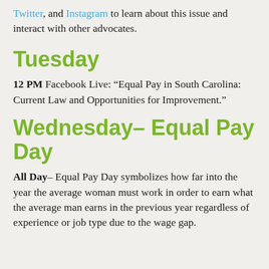Twitter, and Instagram to learn about this issue and interact with other advocates.
Tuesday
12 PM Facebook Live: “Equal Pay in South Carolina: Current Law and Opportunities for Improvement.”
Wednesday– Equal Pay Day
All Day– Equal Pay Day symbolizes how far into the year the average woman must work in order to earn what the average man earns in the previous year regardless of experience or job type due to the wage gap.